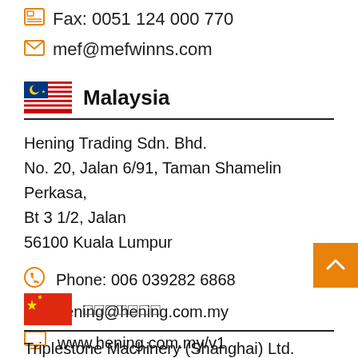Fax: 0051 124 000 770
mef@mefwinns.com
Malaysia
Hening Trading Sdn. Bhd.
No. 20, Jalan 6/91, Taman Shamelin Perkasa,
Bt 3 1/2, Jalan
56100 Kuala Lumpur
Phone: 006 039282 6868
hening@hening.com.my
www.hening.com.my/v1
中国上海（China）
Triplestone Machinery (Shanghai) Ltd.